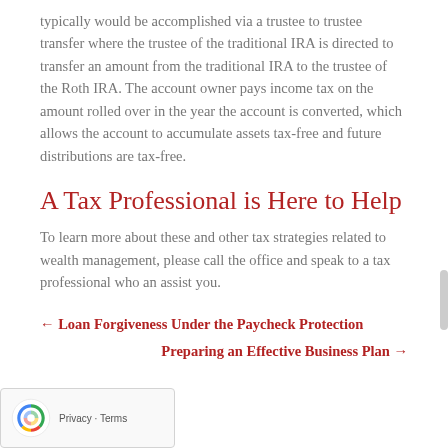typically would be accomplished via a trustee to trustee transfer where the trustee of the traditional IRA is directed to transfer an amount from the traditional IRA to the trustee of the Roth IRA. The account owner pays income tax on the amount rolled over in the year the account is converted, which allows the account to accumulate assets tax-free and future distributions are tax-free.
A Tax Professional is Here to Help
To learn more about these and other tax strategies related to wealth management, please call the office and speak to a tax professional who an assist you.
← Loan Forgiveness Under the Paycheck Protection
Preparing an Effective Business Plan →